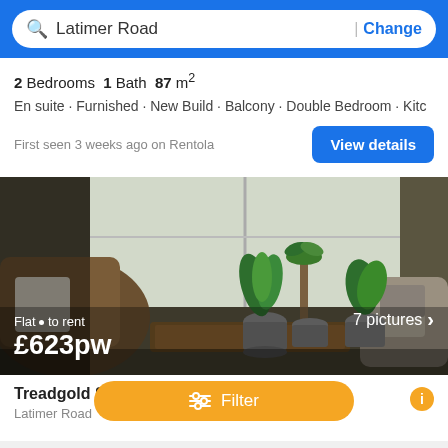Latimer Road | Change
2 Bedrooms 1 Bath 87 m²
En suite · Furnished · New Build · Balcony · Double Bedroom · Kitc
First seen 3 weeks ago on Rentola
View details
[Figure (photo): Interior photo of a living room with armchairs and potted plants on a coffee table near a window. Shows '7 pictures >' badge in bottom right corner. Overlay text: 'Flat · to rent £623pw']
Treadgold Street - Double Bedroom
Latimer Road
Filter